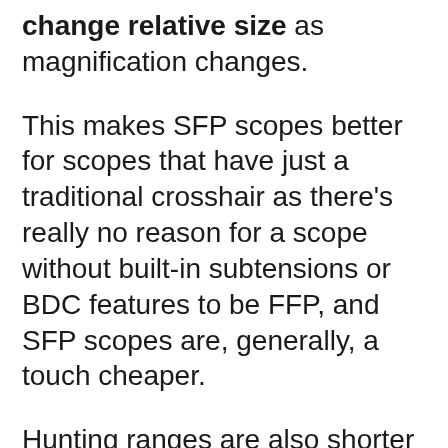change relative size as magnification changes.
This makes SFP scopes better for scopes that have just a traditional crosshair as there's really no reason for a scope without built-in subtensions or BDC features to be FFP, and SFP scopes are, generally, a touch cheaper.
Hunting ranges are also shorter than true long-range shooters typically deal with, so having a reticle that remains thick and very visible at low power is helpful.